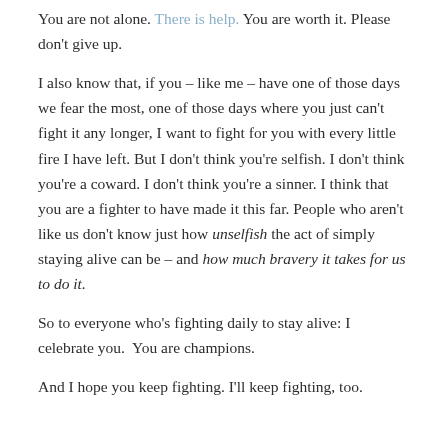You are not alone. There is help. You are worth it. Please don't give up.
I also know that, if you – like me – have one of those days we fear the most, one of those days where you just can't fight it any longer, I want to fight for you with every little fire I have left. But I don't think you're selfish. I don't think you're a coward. I don't think you're a sinner. I think that you are a fighter to have made it this far. People who aren't like us don't know just how unselfish the act of simply staying alive can be – and how much bravery it takes for us to do it.
So to everyone who's fighting daily to stay alive: I celebrate you.  You are champions.
And I hope you keep fighting. I'll keep fighting, too.